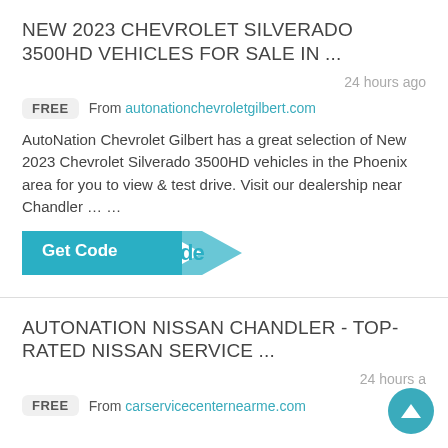NEW 2023 CHEVROLET SILVERADO 3500HD VEHICLES FOR SALE IN ...
24 hours ago
FREE  From autonationchevroletgilbert.com
AutoNation Chevrolet Gilbert has a great selection of New 2023 Chevrolet Silverado 3500HD vehicles in the Phoenix area for you to view & test drive. Visit our dealership near Chandler … …
Get Code de
AUTONATION NISSAN CHANDLER - TOP-RATED NISSAN SERVICE ...
24 hours a
FREE  From carservicecenternearme.com